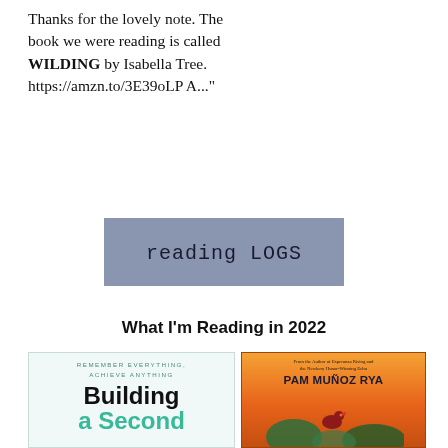Thanks for the lovely note. The book we were reading is called WILDING by Isabella Tree. https://amzn.to/3E39oLP A..."
[Figure (other): Grey-blue rectangular banner with text 'reading LOGS' in mixed case monospace font]
What I'm Reading in 2022
[Figure (illustration): Two book covers side by side. Left: 'Building a Second...' with subtitle 'Remember Everything, Achieve Anything' on light teal background. Right: Book by Pam Muñoz Ryan on orange gradient background with bird illustration.]